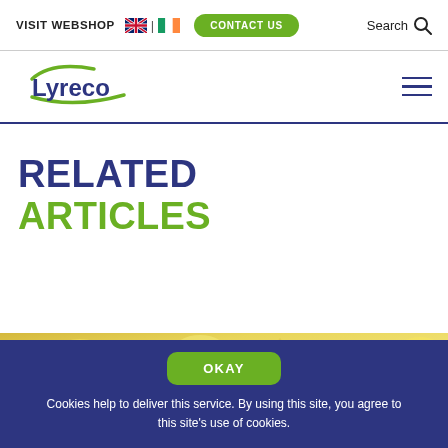VISIT WEBSHOP | CONTACT US | Search
[Figure (logo): Lyreco company logo with green swoosh]
RELATED
ARTICLES
[Figure (photo): Yellow/golden image strip at bottom of page]
OKAY
Cookies help to deliver this service. By using this site, you agree to this site's use of cookies.